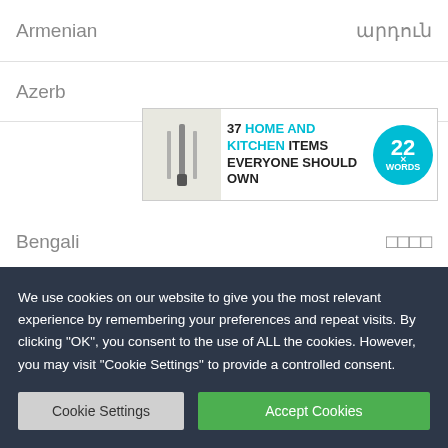Armenian | արդուն
Azerbaijani
[Figure (screenshot): Advertisement banner: 37 HOME AND KITCHEN ITEMS EVERYONE SHOULD OWN with 22 Words badge]
Bengali | □□□□
Chinese Simplified | 谢谢 [xiěyè]
[Figure (screenshot): CLOSE button overlay and second advertisement: 37 GENIUS AMAZING THAT CAN BE USED]
Georgian
[Figure (screenshot): Video popup showing Getting Monsters animated logo on blue sky background with play button]
We use cookies on our website to give you the most relevant experience by remembering your preferences and repeat visits. By clicking "OK", you consent to the use of ALL the cookies. However, you may visit "Cookie Settings" to provide a controlled consent.
Cookie Settings
Accept Cookies